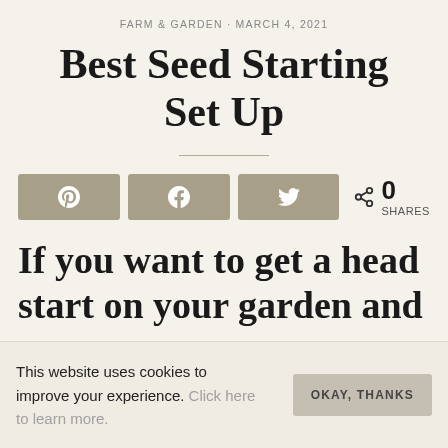FARM & GARDEN · MARCH 4, 2021
Best Seed Starting Set Up
If you want to get a head start on your garden and
This website uses cookies to improve your experience. Click here to learn more.